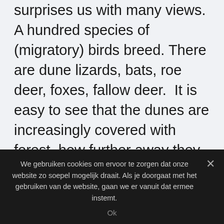surprises us with many views. A hundred species of (migratory) birds breed. There are dune lizards, bats, roe deer, foxes, fallow deer.  It is easy to see that the dunes are increasingly covered with forest, how further away they are from the sea. Although man has had a considerable influence on the dune landscape, vegetation has developed here that has a high degree of naturalness. If you walk from the beach to the inner dune edge you can see the succession of vegetation that is
We gebruiken cookies om ervoor te zorgen dat onze website zo soepel mogelijk draait. Als je doorgaat met het gebruiken van de website, gaan we er vanuit dat ermee instemt.
Ok